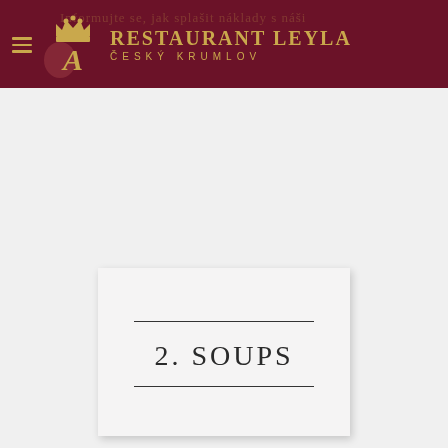[Figure (logo): Restaurant Leyla header with dark red background, hamburger menu icon, decorative crown and A logo in gold, restaurant name RESTAURANT LEYLA and ČESKÝ KRUMLOV in gold text]
2. SOUPS